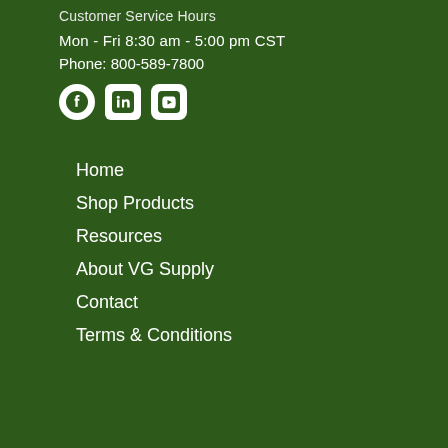Customer Service Hours
Mon - Fri 8:30 am - 5:00 pm CST
Phone: 800-589-7800
[Figure (illustration): Three social media icons: Facebook (circle), LinkedIn (rounded square), YouTube (rounded square)]
Home
Shop Products
Resources
About VG Supply
Contact
Terms & Conditions